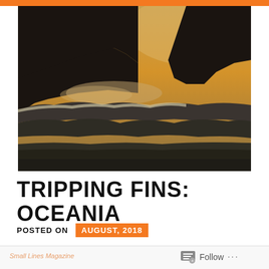[Figure (photo): Dramatic coastal seascape at golden hour/sunset showing dark silhouetted rocky cliffs on the left and right, with large ocean waves crashing in the foreground. The sky and light have a warm amber/golden tone.]
TRIPPING FINS: OCEANIA
POSTED ON AUGUST, 2018
Small Lines Magazine   Follow ...